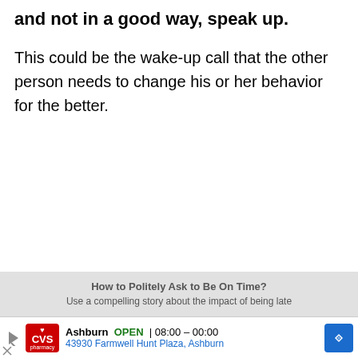and not in a good way, speak up.
This could be the wake-up call that the other person needs to change his or her behavior for the better.
[Figure (other): Blurred/greyed-out article preview overlay showing text 'How to Politely Ask to Be On Time?' and subtitle text beneath it]
[Figure (other): CVS Pharmacy advertisement bar showing Ashburn location, OPEN 08:00-00:00, 43930 Farmwell Hunt Plaza Ashburn, with navigation icon]